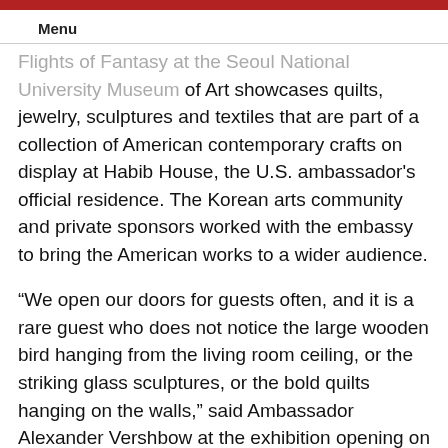Menu
Flights of Fantasy at the Seoul National University Museum of Art showcases quilts, jewelry, sculptures and textiles that are part of a collection of American contemporary crafts on display at Habib House, the U.S. ambassador's official residence. The Korean arts community and private sponsors worked with the embassy to bring the American works to a wider audience.
“We open our doors for guests often, and it is a rare guest who does not notice the large wooden bird hanging from the living room ceiling, or the striking glass sculptures, or the bold quilts hanging on the walls,” said Ambassador Alexander Vershbow at the exhibition opening on July 5, which was attended by some 300 guests. “Bringing this exhibition, Flights of Fantasy, to such a spectacular new museum - where it is open to the public - is especially